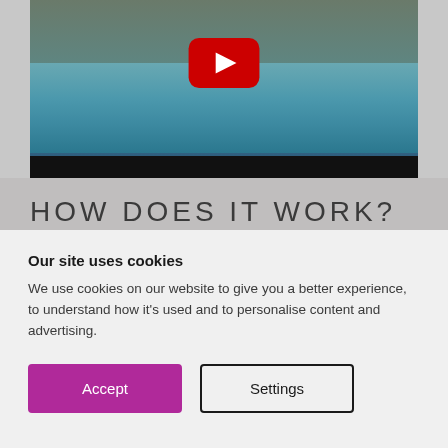[Figure (screenshot): YouTube video thumbnail showing an outdoor swimming pool with a pavilion building in the background, trees, pool ladders, and a large red YouTube play button overlay. A black progress bar is visible at the bottom of the video.]
HOW DOES IT WORK?
It's really quick and easy to book in a tour – we'll ask you for some contact details and then together with one of our team members
Our site uses cookies
We use cookies on our website to give you a better experience, to understand how it's used and to personalise content and advertising.